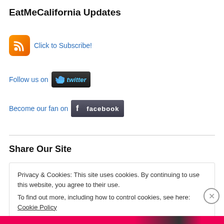EatMeCalifornia Updates
[Figure (logo): RSS feed orange icon with white signal waves, followed by 'Click to Subscribe!' link in blue]
Follow us on [Twitter badge]
Become our fan on [Facebook badge]
Share Our Site
Privacy & Cookies: This site uses cookies. By continuing to use this website, you agree to their use.
To find out more, including how to control cookies, see here: Cookie Policy
Close and accept